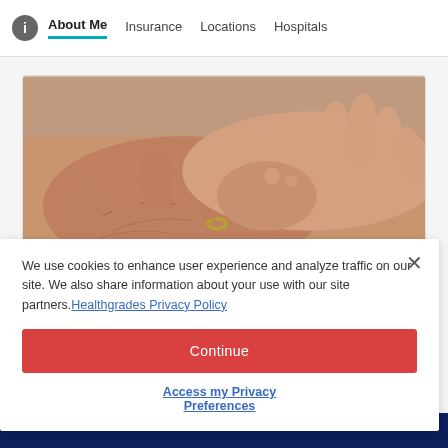About Me | Insurance | Locations | Hospitals
[Figure (photo): Close-up photo of an elderly person's hands being held by another person, suggesting care or medical support.]
We use cookies to enhance user experience and analyze traffic on our site. We also share information about your use with our site partners. Healthgrades Privacy Policy
Continue
Access my Privacy Preferences